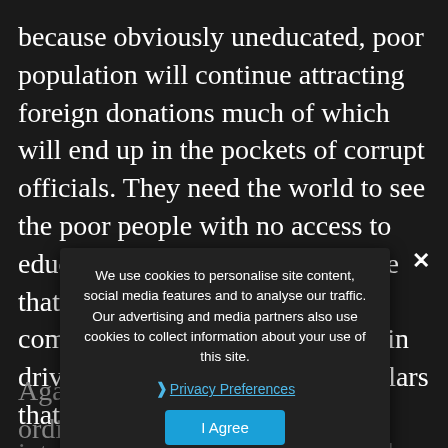because obviously uneducated, poor population will continue attracting foreign donations much of which will end up in the pockets of corrupt officials. They need the world to see the poor people with no access to education and health care because that's what drives sympathy and compassion and those are the main driving force behind millions dollars that come to Cambodia from international philanthropists. And once this money is in Cambodia it's done, no one really tracks where it is donated or who manages it to where it's needed and this is precisely the purpose.
We use cookies to personalise site content, social media features and to analyse our traffic. Our advertising and media partners also use cookies to collect information about your use of this site.
Privacy Preferences
I Agree
Again, if living conditions for ordinary people